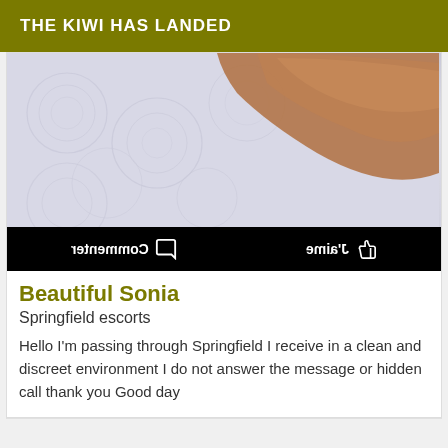THE KIWI HAS LANDED
[Figure (photo): A close-up photo of a bed with white patterned sheets (circular swirl design) and a human arm/hand resting on the surface. Below the photo is a black action bar with mirrored French text 'Commenter' (with speech bubble icon) and 'J'aime' (with thumbs-up icon).]
Beautiful Sonia
Springfield escorts
Hello I'm passing through Springfield I receive in a clean and discreet environment I do not answer the message or hidden call thank you Good day